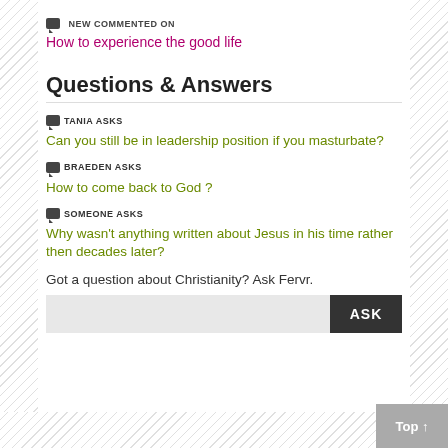NEW COMMENTED ON
How to experience the good life
Questions & Answers
TANIA ASKS
Can you still be in leadership position if you masturbate?
BRAEDEN ASKS
How to come back to God ?
SOMEONE ASKS
Why wasn't anything written about Jesus in his time rather then decades later?
Got a question about Christianity? Ask Fervr.
Top ↑